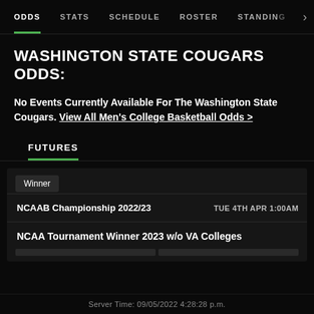ODDS | STATS | SCHEDULE | ROSTER | STANDINGS
WASHINGTON STATE COUGARS ODDS:
No Events Currently Available For The Washington State Cougars. View All Men's College Basketball Odds >
FUTURES
| Winner |
| NCAAB Championship 2022/23 | TUE 4TH APR 1:00AM |
| NCAA Tournament Winner 2023 w/o VA Colleges |  |
Server Time: 09/05/2022 4:28:28 p.m.